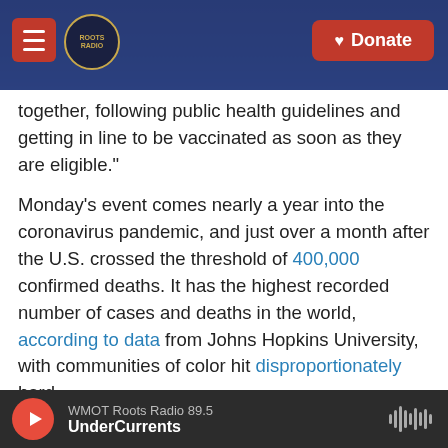[Figure (screenshot): Roots Radio website header with hamburger menu, Roots Radio logo, and red Donate button over a dark blue background with guitar image]
together, following public health guidelines and getting in line to be vaccinated as soon as they are eligible."
Monday's event comes nearly a year into the coronavirus pandemic, and just over a month after the U.S. crossed the threshold of 400,000 confirmed deaths. It has the highest recorded number of cases and deaths in the world, according to data from Johns Hopkins University, with communities of color hit disproportionately hard.
The milestone of half a million confirmed deaths
WMOT Roots Radio 89.5
UnderCurrents